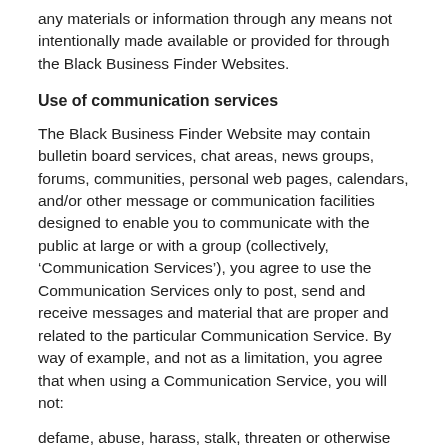any materials or information through any means not intentionally made available or provided for through the Black Business Finder Websites.
Use of communication services
The Black Business Finder Website may contain bulletin board services, chat areas, news groups, forums, communities, personal web pages, calendars, and/or other message or communication facilities designed to enable you to communicate with the public at large or with a group (collectively, ‘Communication Services’), you agree to use the Communication Services only to post, send and receive messages and material that are proper and related to the particular Communication Service. By way of example, and not as a limitation, you agree that when using a Communication Service, you will not:
defame, abuse, harass, stalk, threaten or otherwise violate the legal rights (such as rights of privacy and publicity) of others
publish, post, upload, distribute or disseminate any inappropriate, profane, defamatory, infringing, obscene, indecent or unlawful topic, name, material or information